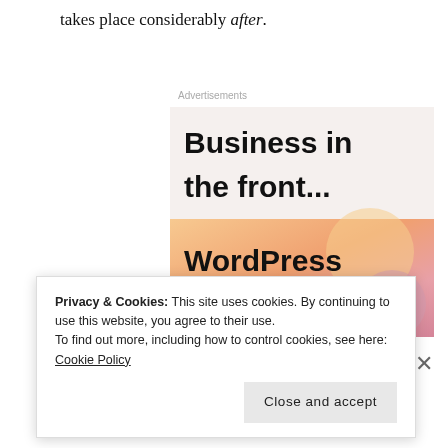takes place considerably after.
Advertisements
[Figure (illustration): Advertisement banner: top section with light beige background showing bold text 'Business in the front...'; bottom section with orange-pink gradient background and decorative circles showing bold text 'WordPress in the back.']
Privacy & Cookies: This site uses cookies. By continuing to use this website, you agree to their use.
To find out more, including how to control cookies, see here: Cookie Policy